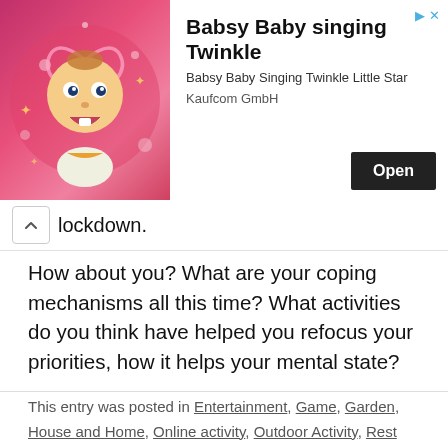[Figure (screenshot): Advertisement banner for 'Babsy Baby singing Twinkle' app with a cartoon baby character on pink background. Shows title, subtitle 'Babsy Baby Singing Twinkle Little Star', company 'Kaufcom GmbH', and an 'Open' button.]
lockdown.
How about you? What are your coping mechanisms all this time? What activities do you think have helped you refocus your priorities, how it helps your mental state?
This entry was posted in Entertainment, Game, Garden, House and Home, Online activity, Outdoor Activity, Rest and relaxation and tagged decluttering idea, gardening, KDrama, lockdown activities, online games on April 14, 2021.